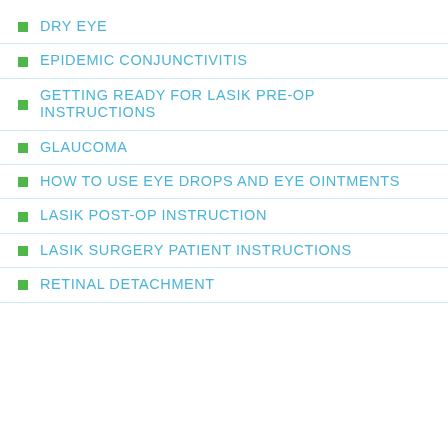DRY EYE
EPIDEMIC CONJUNCTIVITIS
GETTING READY FOR LASIK PRE-OP INSTRUCTIONS
GLAUCOMA
HOW TO USE EYE DROPS AND EYE OINTMENTS
LASIK POST-OP INSTRUCTION
LASIK SURGERY PATIENT INSTRUCTIONS
RETINAL DETACHMENT